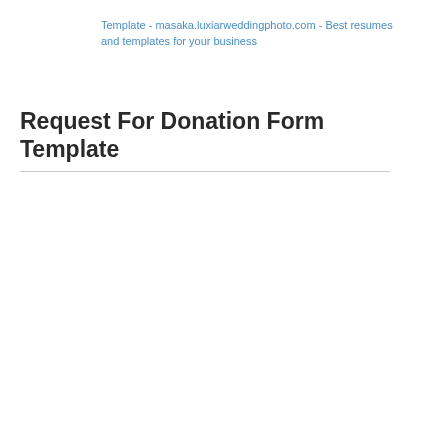Template - masaka.luxiarweddingphoto.com - Best resumes and templates for your business
Request For Donation Form Template